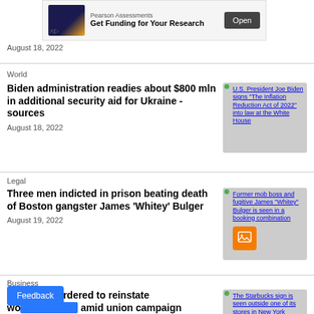[Figure (other): Pearson Assessments ad banner with door image, 'Get Funding for Your Research' text and Open button]
August 18, 2022
World
Biden administration readies about $800 mln in additional security aid for Ukraine -sources
August 18, 2022
[Figure (photo): U.S. President Joe Biden signs "The Inflation Reduction Act of 2022" into law at the White House]
Legal
Three men indicted in prison beating death of Boston gangster James 'Whitey' Bulger
August 19, 2022
[Figure (photo): Former mob boss and fugitive James "Whitey" Bulger is seen in a booking combination]
Business
Starbucks ordered to reinstate workers amid union campaign
[Figure (photo): The Starbucks sign is seen outside one of its stores in New York]